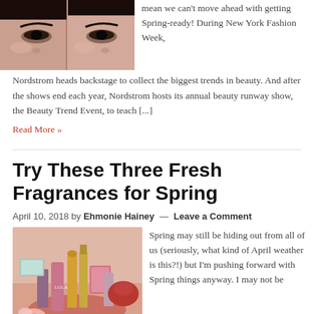[Figure (photo): Close-up photo of a woman's face with makeup, split into two panels showing beauty look]
mean we can't move ahead with getting Spring-ready! During New York Fashion Week, Nordstrom heads backstage to collect the biggest trends in beauty. And after the shows end each year, Nordstrom hosts its annual beauty runway show, the Beauty Trend Event, to teach [...]
Read More »
Try These Three Fresh Fragrances for Spring
April 10, 2018 by Ehmonie Hainey — Leave a Comment
[Figure (photo): Collection of spring fragrance perfume bottles arranged together with pink flowers]
Spring may still be hiding out from all of us (seriously, what kind of April weather is this?!) but I'm pushing forward with Spring things anyway. I may not be